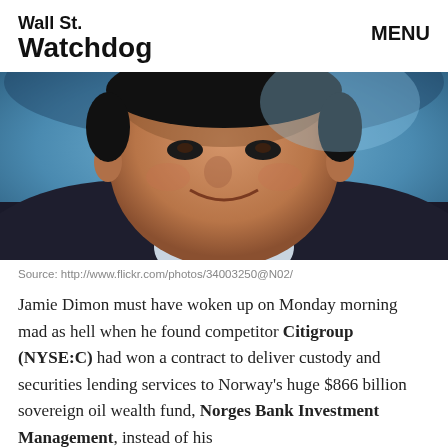Wall St. Watchdog   MENU
[Figure (photo): Close-up photo of a smiling Asian man against a blue background, cropped to show face and upper torso.]
Source: http://www.flickr.com/photos/34003250@N02/
Jamie Dimon must have woken up on Monday morning mad as hell when he found competitor Citigroup (NYSE:C) had won a contract to deliver custody and securities lending services to Norway's huge $866 billion sovereign oil wealth fund, Norges Bank Investment Management, instead of his